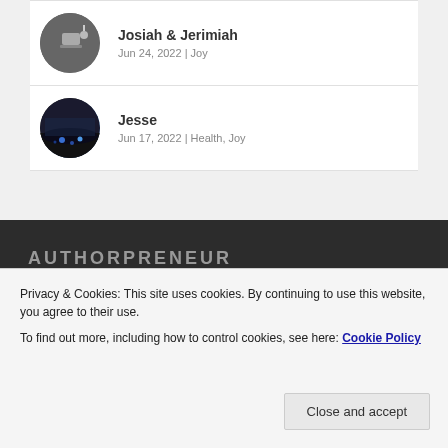Josiah & Jerimiah
Jun 24, 2022 | Joy
Jesse
Jun 17, 2022 | Health, Joy
AUTHORPRENEUR
Privacy & Cookies: This site uses cookies. By continuing to use this website, you agree to their use.
To find out more, including how to control cookies, see here: Cookie Policy
Close and accept